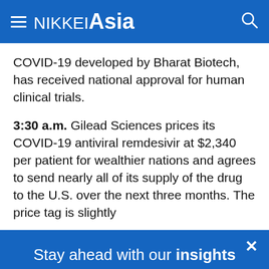NIKKEI Asia
COVID-19 developed by Bharat Biotech, has received national approval for human clinical trials.
3:30 a.m. Gilead Sciences prices its COVID-19 antiviral remdesivir at $2,340 per patient for wealthier nations and agrees to send nearly all of its supply of the drug to the U.S. over the next three months. The price tag is slightly
Stay ahead with our insights on Asia
Get full access to our award winning journalism.
Subscribe now